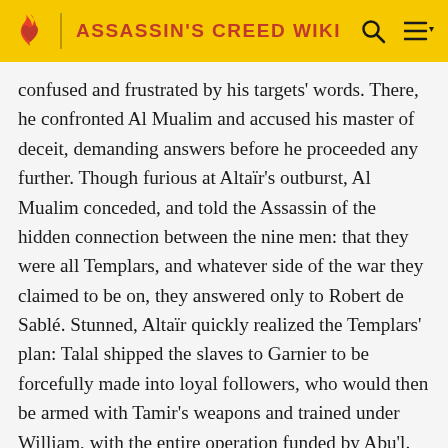ASSASSIN'S CREED WIKI
confused and frustrated by his targets' words. There, he confronted Al Mualim and accused his master of deceit, demanding answers before he proceeded any further. Though furious at Altaïr's outburst, Al Mualim conceded, and told the Assassin of the hidden connection between the nine men: that they were all Templars, and whatever side of the war they claimed to be on, they answered only to Robert de Sablé. Stunned, Altaïr quickly realized the Templars' plan: Talal shipped the slaves to Garnier to be forcefully made into loyal followers, who would then be armed with Tamir's weapons and trained under William, with the entire operation funded by Abu'l. Before Altaïr left, Al Mualim asked how he knew that he would not be killed for his insolence; Altaïr replied that he had not